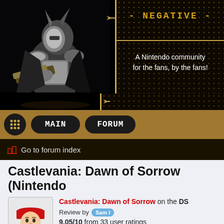[Figure (screenshot): Nintendo fan community website header with armored knight character on left and '- NEGATIVE -' logo banner on right with gold diamond pattern background and text 'A Nintendo community for the fans, by the fans!']
[Figure (infographic): Navigation bar with MAIN and FORUM buttons on dark gold background]
Go to forum index
Castlevania: Dawn of Sorrow (Nintendo
Castlevania: Dawn of Sorrow on the DS Review by Sam I 9.05/10 from 33 user ratings